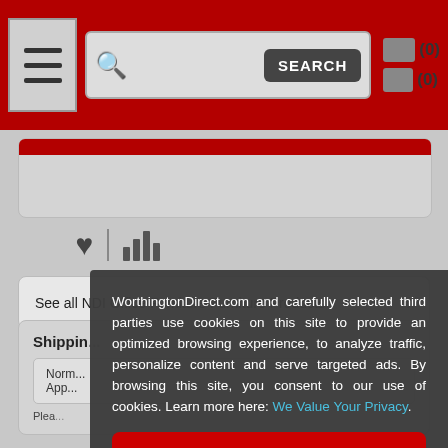Navigation bar with hamburger menu, search bar with SEARCH button, and cart/wishlist icons showing (0)
[Figure (screenshot): Gray card area with red top bar]
[Figure (illustration): Heart icon and bar chart icon with vertical divider]
See all NDI Office Furniture Furniture Products
Shippin...
Norm... App...
Plea...
WorthingtonDirect.com and carefully selected third parties use cookies on this site to provide an optimized browsing experience, to analyze traffic, personalize content and serve targeted ads. By browsing this site, you consent to our use of cookies. Learn more here: We Value Your Privacy.
I Accept